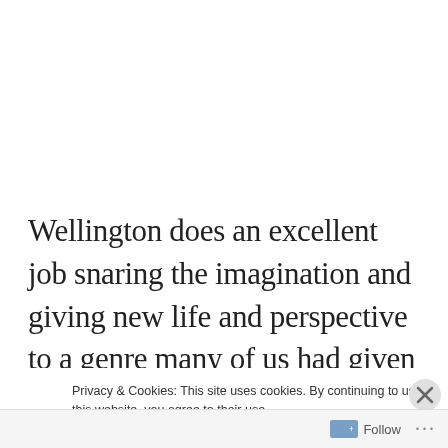Wellington does an excellent job snaring the imagination and giving new life and perspective to a genre many of us had given up as dead. The pacing of the story is unfalteringly quick, with character interactions and dialogue that feel a
Privacy & Cookies: This site uses cookies. By continuing to use this website, you agree to their use.
To find out more, including how to control cookies, see here: Cookie Policy
Close and accept
+ Follow ···